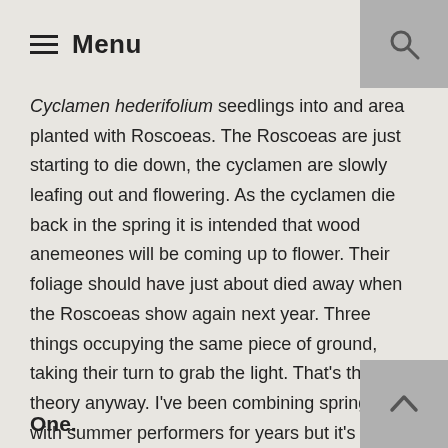Menu
Cyclamen hederifolium seedlings into and area planted with Roscoeas. The Roscoeas are just starting to die down, the cyclamen are slowly leafing out and flowering. As the cyclamen die back in the spring it is intended that wood anemeones will be coming up to flower. Their foliage should have just about died away when the Roscoeas show again next year. Three things occupying the same piece of ground, taking their turn to grab the light. That's the theory anyway. I've been combining spring bulbs with summer performers for years but it's the autumn/winter that is trickiest, basically the next three months. Keeping the summer stuff going as long as possible is a start. Then there are the plants that do their thing in October. There's a few of them coming up.
One.